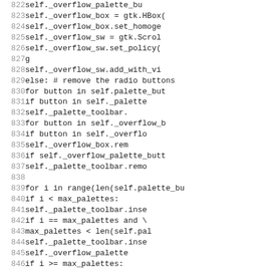[Figure (screenshot): Source code listing (Python) showing lines 822–851, with line numbers on the left and code involving GTK widget construction and palette/overflow box management on the right. The code is clipped on the right margin.]